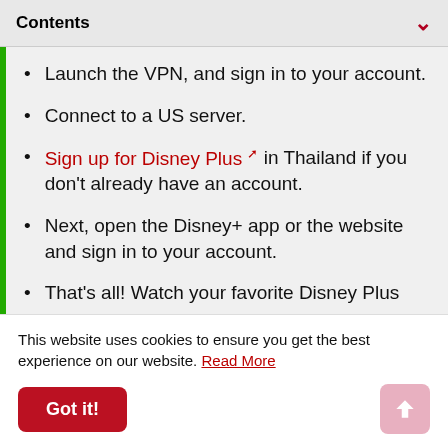Contents
Launch the VPN, and sign in to your account.
Connect to a US server.
Sign up for Disney Plus [external link] in Thailand if you don't already have an account.
Next, open the Disney+ app or the website and sign in to your account.
That's all! Watch your favorite Disney Plus
This website uses cookies to ensure you get the best experience on our website. Read More